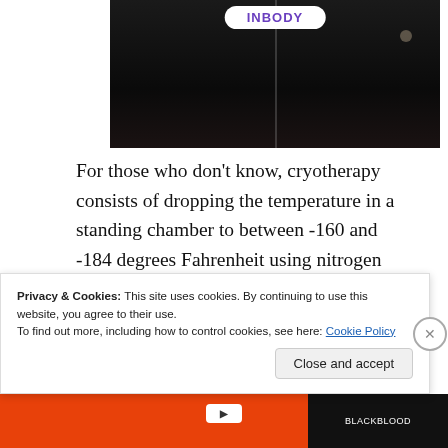[Figure (photo): Dark cryotherapy chamber with INBODY label at top, dark interior with vertical light strip]
For those who don't know, cryotherapy consists of dropping the temperature in a standing chamber to between -160 and -184 degrees Fahrenheit using nitrogen vapor. The good news is that you only need to
Privacy & Cookies: This site uses cookies. By continuing to use this website, you agree to their use.
To find out more, including how to control cookies, see here: Cookie Policy
Close and accept